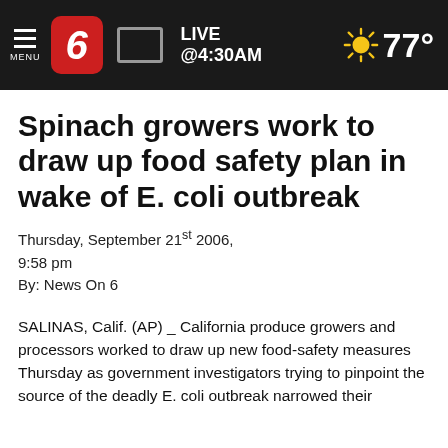LIVE @4:30AM  77°
Spinach growers work to draw up food safety plan in wake of E. coli outbreak
Thursday, September 21st 2006,
9:58 pm
By: News On 6
SALINAS, Calif. (AP) _ California produce growers and processors worked to draw up new food-safety measures Thursday as government investigators trying to pinpoint the source of the deadly E. coli outbreak narrowed their